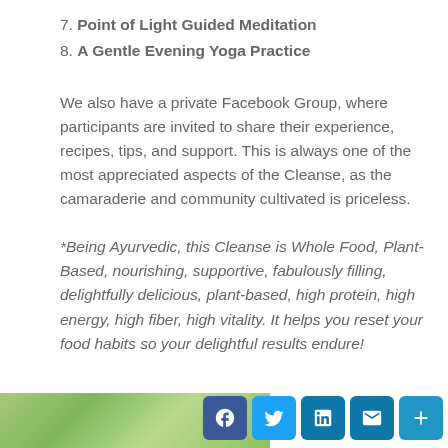7. Point of Light Guided Meditation
8. A Gentle Evening Yoga Practice
We also have a private Facebook Group, where participants are invited to share their experience, recipes, tips, and support. This is always one of the most appreciated aspects of the Cleanse, as the camaraderie and community cultivated is priceless.
*Being Ayurvedic, this Cleanse is Whole Food, Plant-Based, nourishing, supportive, fabulously filling, delightfully delicious, plant-based, high protein, high energy, high fiber, high vitality. It helps you reset your food habits so your delightful results endure!
[Figure (photo): Green plant/nature image strip at bottom left]
[Figure (infographic): Social media sharing buttons: Facebook, Twitter, LinkedIn, Email, More]